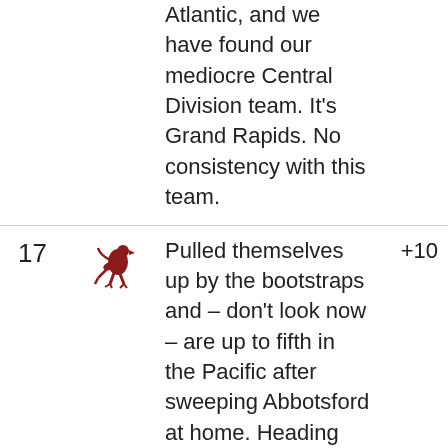Atlantic, and we have found our mediocre Central Division team. It's Grand Rapids. No consistency with this team.
17   Pulled themselves up by the bootstraps and – don't look now – are up to fifth in the Pacific after sweeping Abbotsford at home. Heading into Colorado this weekend